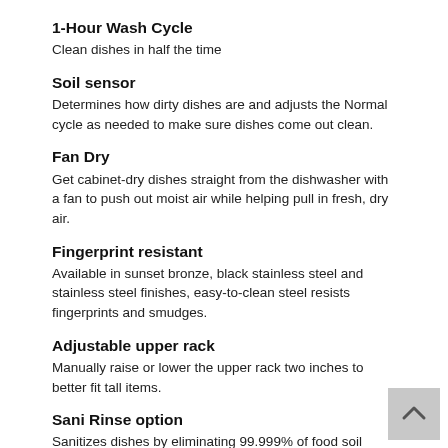1-Hour Wash Cycle
Clean dishes in half the time
Soil sensor
Determines how dirty dishes are and adjusts the Normal cycle as needed to make sure dishes come out clean.
Fan Dry
Get cabinet-dry dishes straight from the dishwasher with a fan to push out moist air while helping pull in fresh, dry air.
Fingerprint resistant
Available in sunset bronze, black stainless steel and stainless steel finishes, easy-to-clean steel resists fingerprints and smudges.
Adjustable upper rack
Manually raise or lower the upper rack two inches to better fit tall items.
Sani Rinse option
Sanitizes dishes by eliminating 99.999% of food soil bacteria.